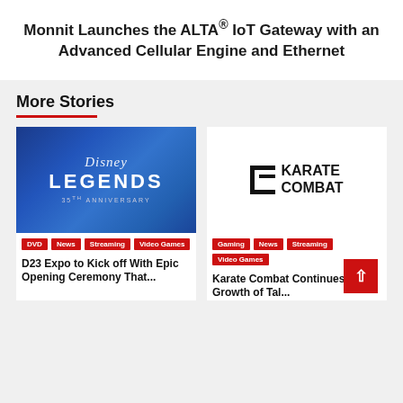Monnit Launches the ALTA® IoT Gateway with an Advanced Cellular Engine and Ethernet
More Stories
[Figure (photo): Disney Legends 35th Anniversary blue promotional image]
DVD | News | Streaming | Video Games
D23 Expo to Kick off With Epic Opening Ceremony That...
[Figure (logo): Karate Combat logo — bracket icon with KARATE COMBAT text]
Gaming | News | Streaming | Video Games
Karate Combat Continues Rapid Growth of Tal...